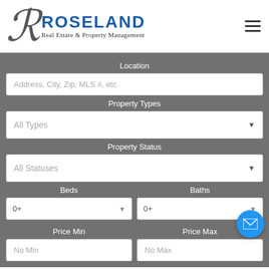[Figure (logo): Roseland Real Estate & Property Management logo with stylized R and blue ROSELAND text]
Location
Address, City, Zip, MLS #, etc
Property Types
All Types
Property Status
All Statuses
Beds
Baths
0+
0+
Price Min
Price Max
No Min
No Max